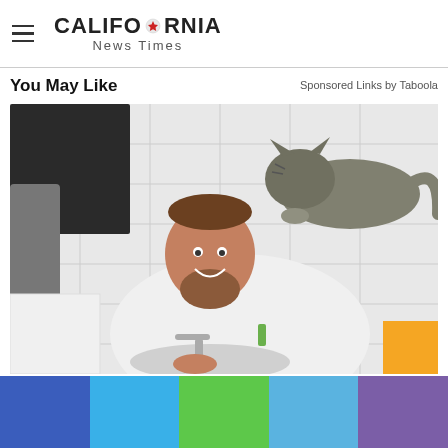CALIFORNIA News Times
You May Like
Sponsored Links by Taboola
[Figure (photo): A smiling bearded man in a white long-sleeve shirt washing his hands at a white bathroom sink with subway tile walls. A tortoiseshell cat stands on his back looking toward a mirror.]
[Figure (other): Colored bar strip at the bottom: blue, light blue, green, sky blue, purple sections]